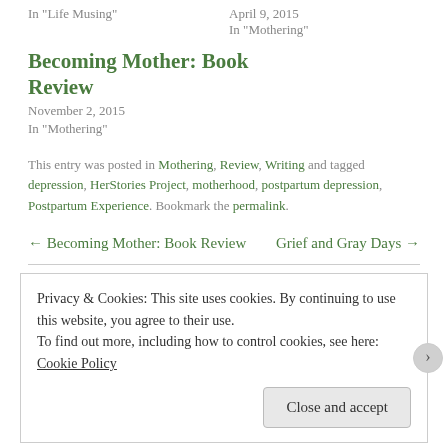In "Life Musing"
April 9, 2015
In "Mothering"
Becoming Mother: Book Review
November 2, 2015
In "Mothering"
This entry was posted in Mothering, Review, Writing and tagged depression, HerStories Project, motherhood, postpartum depression, Postpartum Experience. Bookmark the permalink.
← Becoming Mother: Book Review
Grief and Gray Days →
Privacy & Cookies: This site uses cookies. By continuing to use this website, you agree to their use.
To find out more, including how to control cookies, see here: Cookie Policy
Close and accept